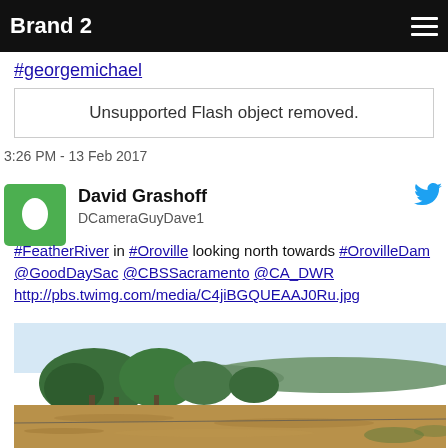Brand 2
#georgemichael
Unsupported Flash object removed.
3:26 PM - 13 Feb 2017
David Grashoff
DCameraGuyDave1
#FeatherRiver in #Oroville looking north towards #OrovilleDam @GoodDaySac @CBSSacramento @CA_DWR http://pbs.twimg.com/media/C4jiBGQUEAAJ0Ru.jpg
[Figure (photo): Flooded Feather River near Oroville looking north, with trees partially submerged and brown floodwater, hills in background.]